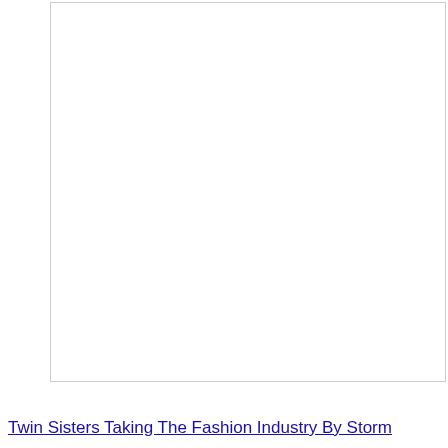[Figure (photo): Large white/empty bordered rectangular area occupying most of the page]
Twin Sisters Taking The Fashion Industry By Storm